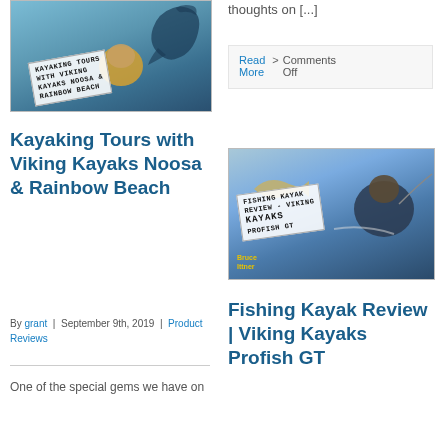[Figure (photo): Kayaking tour photo with dolphin/whale jumping and person in yellow jacket, overlaid with label: KAYAKING TOURS WITH VIKING KAYAKS NOOSA & RAINBOW BEACH]
Kayaking Tours with Viking Kayaks Noosa & Rainbow Beach
By grant | September 9th, 2019 | Product Reviews
One of the special gems we have on
thoughts on [...]
Read More  >  Comments Off
[Figure (photo): Fishing kayak review photo showing person holding fish on a Viking Kayaks Profish GT kayak, with label: FISHING KAYAK REVIEW - VIKING KAYAKS PROFISH GT]
Fishing Kayak Review | Viking Kayaks Profish GT